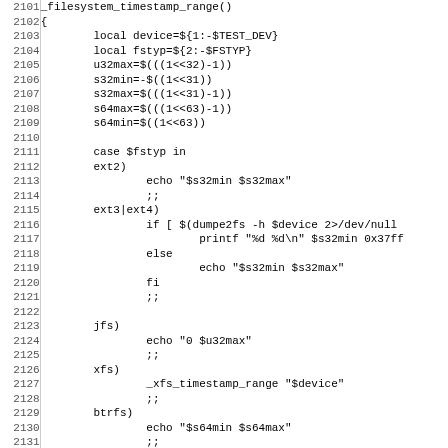[Figure (other): Source code listing (shell script) with line numbers 2101-2132, showing _filesystem_timestamp_range() function implementation with case statement for ext2, ext3|ext4, jfs, xfs, btrfs, and overlay filesystem types]